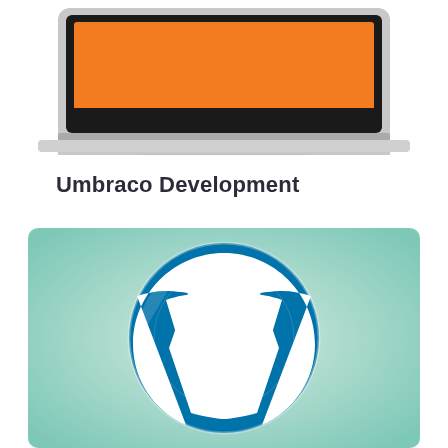[Figure (illustration): Laptop computer with orange/dark background on screen, silver MacBook-style laptop]
Umbraco Development
[Figure (logo): WordPress logo - blue circular logo with white W letter on teal/mint green gradient background]